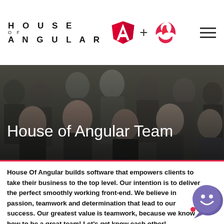HOUSE OF ANGULAR
[Figure (photo): Group photo of the House of Angular team, multiple people posing together against a textured background]
House of Angular Team
House Of Angular builds software that empowers clients to take their business to the top level. Our intention is to deliver the perfect smoothly working front-end. We believe in passion, teamwork and determination that lead to our success. Our greatest value is teamwork, because we know how to be a great team! Let's get know each other!